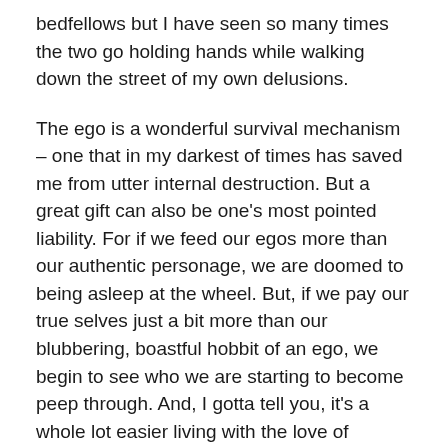bedfellows but I have seen so many times the two go holding hands while walking down the street of my own delusions.
The ego is a wonderful survival mechanism – one that in my darkest of times has saved me from utter internal destruction. But a great gift can also be one's most pointed liability. For if we feed our egos more than our authentic personage, we are doomed to being asleep at the wheel. But, if we pay our true selves just a bit more than our blubbering, boastful hobbit of an ego, we begin to see who we are starting to become peep through. And, I gotta tell you, it's a whole lot easier living with the love of oneself than the condemnation brought on by believing we are unworthy of prosperity, love, adoration and forgiveness.
I am in the middle of transformation and, truthfully, it